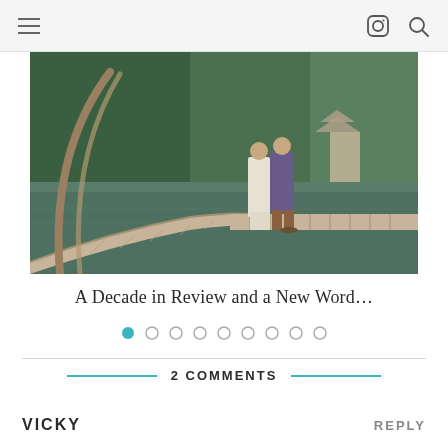≡  [Instagram icon] [Search icon]
[Figure (photo): A couple standing on a curved bamboo dock over a green lake, with lush tropical trees and a pagoda in the background.]
A Decade in Review and a New Word…
● ○ ○ ○ ○ ○ ○ ○ ○ (carousel dots, first active)
2 COMMENTS
VICKY
REPLY